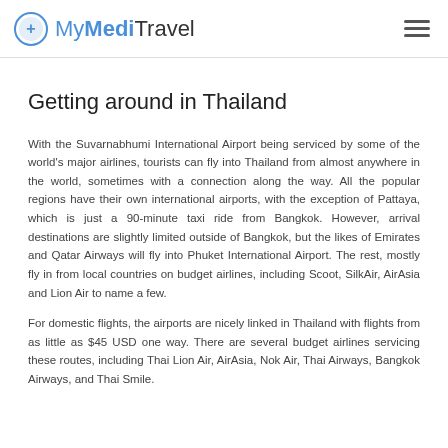MyMediTravel
Getting around in Thailand
With the Suvarnabhumi International Airport being serviced by some of the world's major airlines, tourists can fly into Thailand from almost anywhere in the world, sometimes with a connection along the way. All the popular regions have their own international airports, with the exception of Pattaya, which is just a 90-minute taxi ride from Bangkok. However, arrival destinations are slightly limited outside of Bangkok, but the likes of Emirates and Qatar Airways will fly into Phuket International Airport. The rest, mostly fly in from local countries on budget airlines, including Scoot, SilkAir, AirAsia and Lion Air to name a few.
For domestic flights, the airports are nicely linked in Thailand with flights from as little as $45 USD one way. There are several budget airlines servicing these routes, including Thai Lion Air, AirAsia, Nok Air, Thai Airways, Bangkok Airways, and Thai Smile.